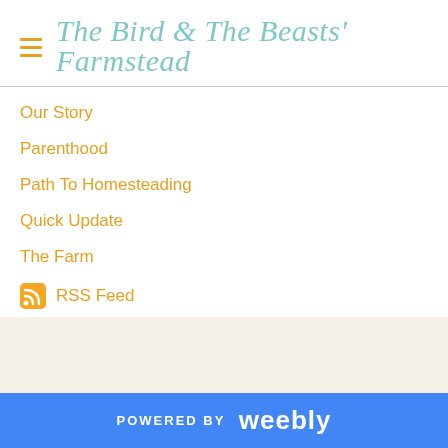The Bird & The Beasts' Farmstead
Our Story
Parenthood
Path To Homesteading
Quick Update
The Farm
RSS Feed
POWERED BY weebly